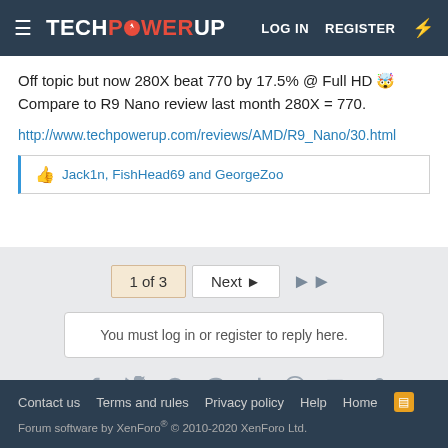TECHPOWERUP | LOG IN  REGISTER
Off topic but now 280X beat 770 by 17.5% @ Full HD 😲 Compare to R9 Nano review last month 280X = 770.
http://www.techpowerup.com/reviews/AMD/R9_Nano/30.html
Jack1n, FishHead69 and GeorgeZoo
1 of 3  Next ▶  ▶▶
You must log in or register to reply here.
Share:
< Reviews
Contact us  Terms and rules  Privacy policy  Help  Home  [RSS] Forum software by XenForo® © 2010-2020 XenForo Ltd.